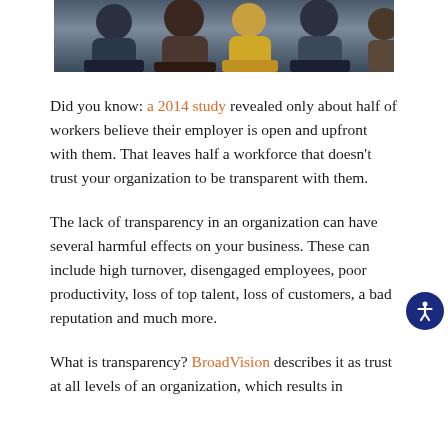[Figure (photo): Partial photo of people sitting in a group, cropped at top showing heads and shoulders of meeting/workshop participants]
Did you know: a 2014 study revealed only about half of workers believe their employer is open and upfront with them. That leaves half a workforce that doesn't trust your organization to be transparent with them.
The lack of transparency in an organization can have several harmful effects on your business. These can include high turnover, disengaged employees, poor productivity, loss of top talent, loss of customers, a bad reputation and much more.
What is transparency? BroadVision describes it as trust at all levels of an organization, which results in